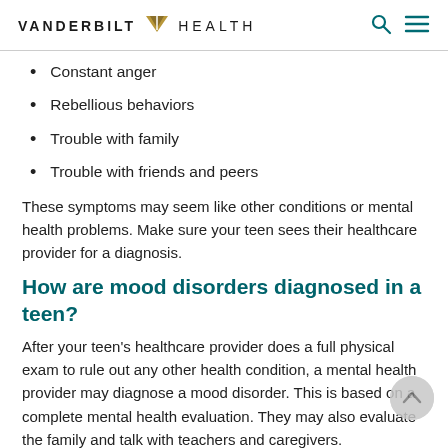VANDERBILT V HEALTH
Constant anger
Rebellious behaviors
Trouble with family
Trouble with friends and peers
These symptoms may seem like other conditions or mental health problems. Make sure your teen sees their healthcare provider for a diagnosis.
How are mood disorders diagnosed in a teen?
After your teen's healthcare provider does a full physical exam to rule out any other health condition, a mental health provider may diagnose a mood disorder. This is based on a complete mental health evaluation. They may also evaluate the family and talk with teachers and caregivers.